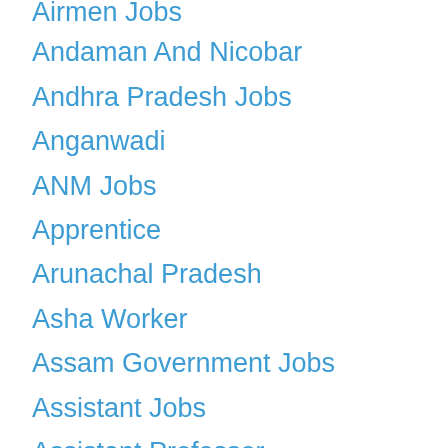Airmen Jobs
Andaman And Nicobar
Andhra Pradesh Jobs
Anganwadi
ANM Jobs
Apprentice
Arunachal Pradesh
Asha Worker
Assam Government Jobs
Assistant Jobs
Assistant Professor
Associate Jobs
Associate Professor
Ayah